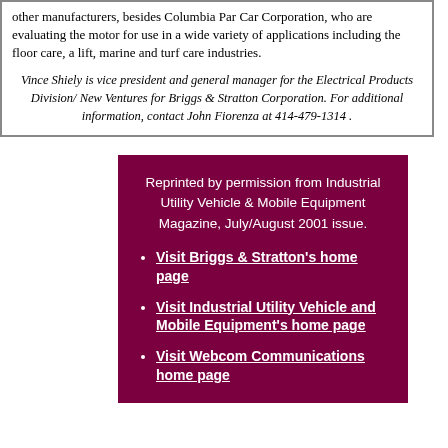other manufacturers, besides Columbia Par Car Corporation, who are evaluating the motor for use in a wide variety of applications including the floor care, a lift, marine and turf care industries.
Vince Shiely is vice president and general manager for the Electrical Products Division/ New Ventures for Briggs & Stratton Corporation. For additional information, contact John Fiorenza at 414-479-1314 .
Reprinted by permission from Industrial Utility Vehicle & Mobile Equipment Magazine, July/August 2001 issue.
Visit Briggs & Stratton's home page
Visit Industrial Utility Vehicle and Mobile Equipment's home page
Visit Webcom Communications home page